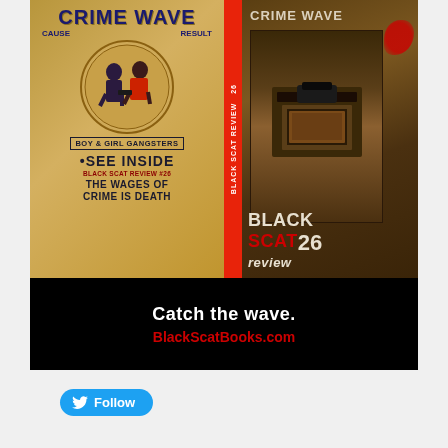[Figure (illustration): Advertisement for Black Scat Review #26 'Crime Wave' issue. Left half shows a vintage pulp magazine style cover in gold/yellow with 'CRIME WAVE' at the top, 'CAUSE' and 'RESULT' labels, a circle illustration of two gangster figures (boy and girl), text 'BOY & GIRL GANGSTERS', 'SEE INSIDE', 'BLACK SCAT REVIEW #26', 'THE WAGES OF CRIME IS DEATH'. A red spine divides the two halves with 'BLACK SCAT REVIEW 26' vertically. Right half shows a darker, photographic cover with 'CRIME WAVE' at top, a dark wooden trap/box image, blood splatter, and 'BLACK SCAT 26 review' text in white and red. Below both covers is a black banner reading 'Catch the wave.' in white and 'BlackScatBooks.com' in red.]
Follow